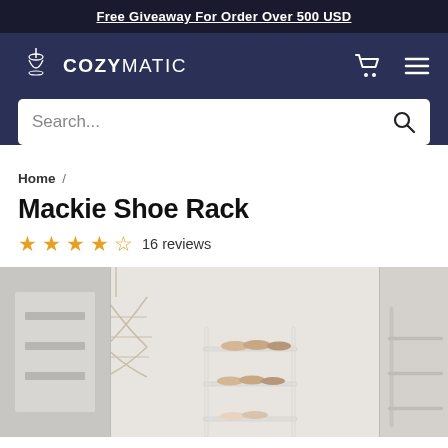Free Giveaway For Order Over 500 USD
[Figure (logo): Cozymatic logo with pendant light icon and text COZYMATIC, plus shopping cart and hamburger menu icons on the right]
Search...
Home /
Mackie Shoe Rack
★★★★☆ 16 reviews
[Figure (photo): Product photo of a white metal shoe rack with multiple tiers holding beige and tan shoes, set against a light grey wall with a macrame hanging decoration]